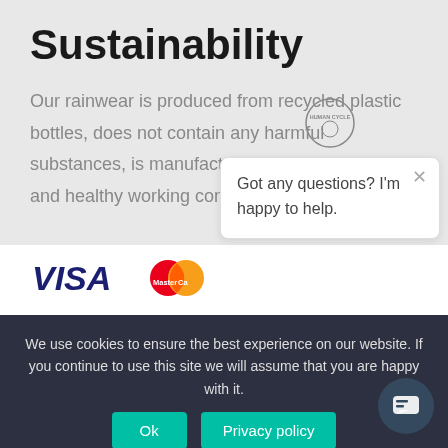Sustainability
Our rainwear is produced from recycled plastic bottles, does not contain any harmful substances, is manufactured under fair, safe and healthy working conditions.
[Figure (logo): VISA logo in blue and yellow]
[Figure (logo): MasterCard logo red and orange overlapping circles]
[Figure (illustration): Chat popup with bot icon and message: Got any questions? I'm happy to help.]
We use cookies to ensure the best experience on our website. If you continue to use this site we will assume that you are happy with it.
Ok
Privacy policy